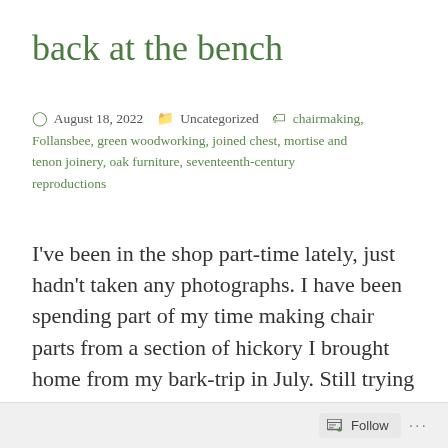back at the bench
August 18, 2022   Uncategorized   chairmaking, Follansbee, green woodworking, joined chest, mortise and tenon joinery, oak furniture, seventeenth-century reproductions
I've been in the shop part-time lately, just hadn't taken any photographs. I have been spending part of my time making chair parts from a section of hickory I brought home from my bark-trip in July. Still trying to relearn what I used to know 30 years ago. I can't find stuff I had last week, but I knew just where the old
Follow ...